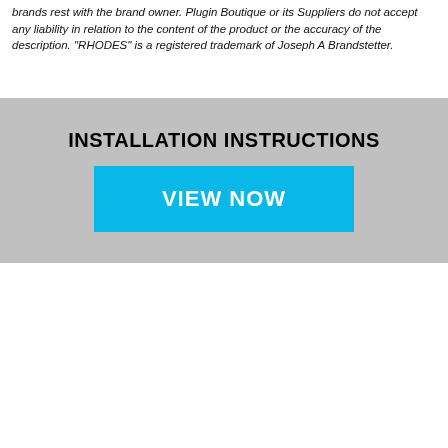brands rest with the brand owner. Plugin Boutique or its Suppliers do not accept any liability in relation to the content of the product or the accuracy of the description. "RHODES" is a registered trademark of Joseph A Brandstetter.
INSTALLATION INSTRUCTIONS
[Figure (other): Blue 'VIEW NOW' button inside a grey installation instructions banner]